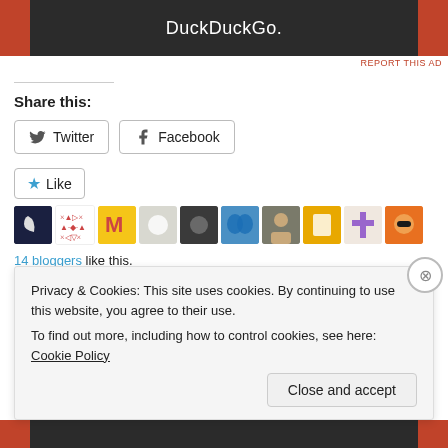[Figure (screenshot): DuckDuckGo advertisement banner with orange sides and dark center showing DuckDuckGo logo text]
REPORT THIS AD
Share this:
[Figure (other): Twitter share button]
[Figure (other): Facebook share button]
[Figure (other): Like button with star and blogger avatars]
14 bloggers like this.
Related
Privacy & Cookies: This site uses cookies. By continuing to use this website, you agree to their use.
To find out more, including how to control cookies, see here: Cookie Policy
Close and accept